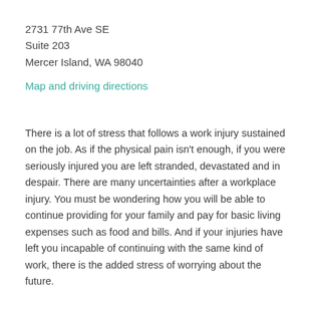2731 77th Ave SE
Suite 203
Mercer Island, WA 98040
Map and driving directions
There is a lot of stress that follows a work injury sustained on the job. As if the physical pain isn't enough, if you were seriously injured you are left stranded, devastated and in despair. There are many uncertainties after a workplace injury. You must be wondering how you will be able to continue providing for your family and pay for basic living expenses such as food and bills. And if your injuries have left you incapable of continuing with the same kind of work, there is the added stress of worrying about the future.